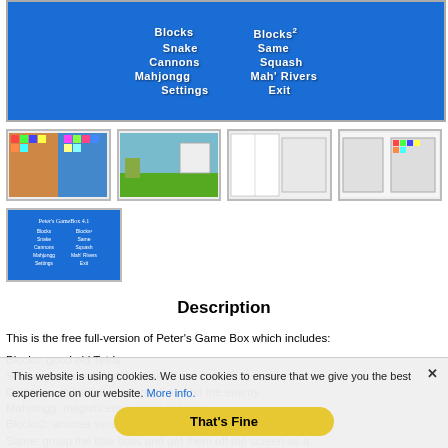[Figure (screenshot): Game menu screen on blue background showing: Blocks, Blocks², Snake, Same, Cannons, Squash, Mahjongg, Mah' Rivers, Settings, Exit]
[Figure (screenshot): Row of 4 game screenshot thumbnails showing various game screens]
[Figure (screenshot): Single thumbnail showing the blue game menu screen]
Description
This is the free full-version of Peter's Game Box which includes:
Blocks: good old Tetris
Snake: you sure know this one
Cannons: shoot the cannonball and hit the enemy
Mahjongg: magnificent oriental solitaire
Blocks2: another version of the well-known game
Same: group the little balls and get them off the screen as a
This website is using cookies. We use cookies to ensure that we give you the best experience on our website. More info. That's Fine